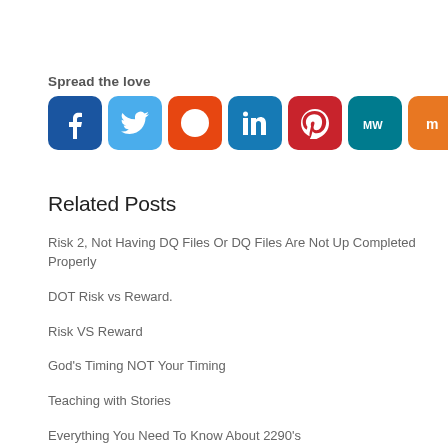Spread the love
[Figure (infographic): Row of social media share buttons: Facebook, Twitter, Reddit, LinkedIn, Pinterest, MeWe, Mix, WhatsApp, Share]
Related Posts
Risk 2, Not Having DQ Files Or DQ Files Are Not Up Completed Properly
DOT Risk vs Reward.
Risk VS Reward
God's Timing NOT Your Timing
Teaching with Stories
Everything You Need To Know About 2290's
Start Allowing Those Close To You To Fail